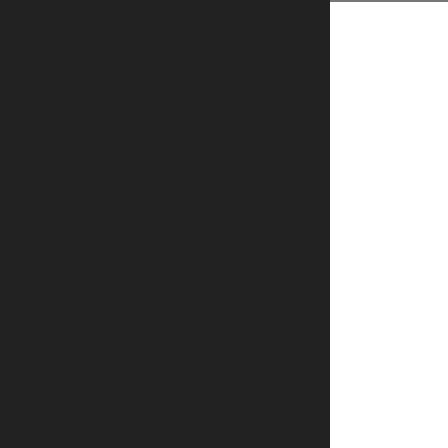[Figure (screenshot): Dark left navigation panel]
[Figure (screenshot): Thumbnail image for NewsCorp Scandal Management and Stock Outlook article]
NewsCorpScandalManagementandStockOutlook
Cis...
From:
Ale... plan... per... ann... Em...
[Figure (screenshot): Thumbnail image for Cisco Systems Job Cuts and Company Outlook article]
CiscoSystemsJobCutsandCompanyOutlook
Stocks to Follow Af...
From: CNBC on Mon, Ju...
CNBC's Maria Bartiromo...
[Figure (screenshot): Thumbnail for Stocks to Follow After the Bell article]
StockstoFollowAftertheBell
Buffett & Obam...
From: CNBC on Mon...
NBC's Kristen Walker...
[Figure (screenshot): Thumbnail for Buffett Obama article]
BuffettObama...